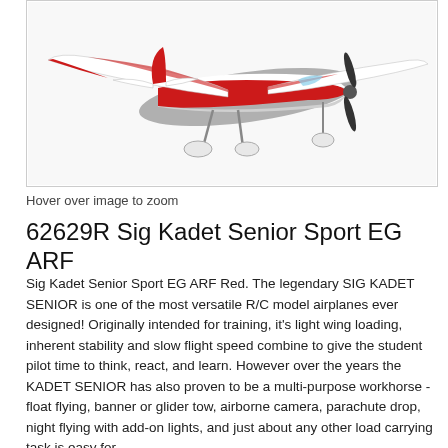[Figure (photo): Red and white RC model airplane (Sig Kadet Senior Sport EG ARF) photographed from above-front angle showing propeller, wings, and landing gear on white background]
Hover over image to zoom
62629R Sig Kadet Senior Sport EG ARF
Sig Kadet Senior Sport EG ARF Red. The legendary SIG KADET SENIOR is one of the most versatile R/C model airplanes ever designed! Originally intended for training, it's light wing loading, inherent stability and slow flight speed combine to give the student pilot time to think, react, and learn. However over the years the KADET SENIOR has also proven to be a multi-purpose workhorse - float flying, banner or glider tow, airborne camera, parachute drop, night flying with add-on lights, and just about any other load carrying task is easy for the KADET SENIOR. The plane's performance record is